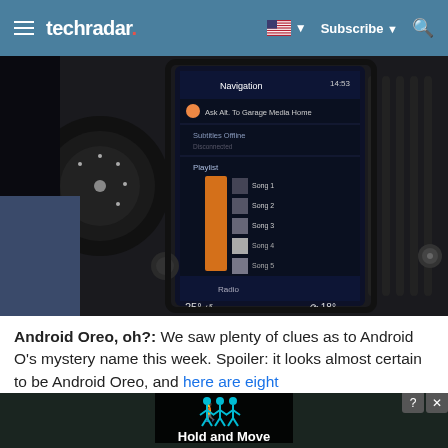techradar | Subscribe | Search
[Figure (photo): Close-up photo of a Volvo car interior showing a large vertical touchscreen infotainment display with navigation, music playlist, and climate controls visible, with car dashboard and vents surrounding it.]
Android Oreo, oh?: We saw plenty of clues as to Android O's mystery name this week. Spoiler: it looks almost certain to be Android Oreo, and here are eight
[Figure (screenshot): Advertisement overlay showing a dark background with trees, a 'Hold and Move' banner with cyan person icons, and close/help buttons in top right corner.]